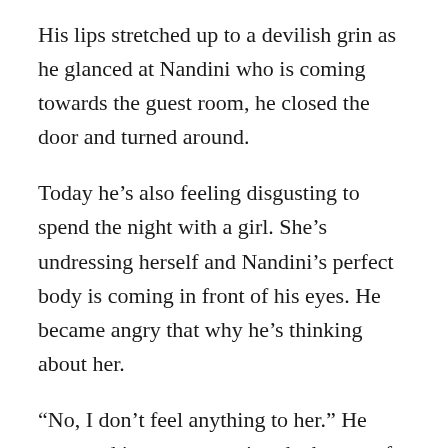His lips stretched up to a devilish grin as he glanced at Nandini who is coming towards the guest room, he closed the door and turned around.
Today he’s also feeling disgusting to spend the night with a girl. She’s undressing herself and Nandini’s perfect body is coming in front of his eyes. He became angry that why he’s thinking about her.
“No, I don’t feel anything to her.” He muttered in anger, opening the button of his black trouser and harshly pushed the girl on the sofa.
“On your fours now.” He ordered her in a cold tone, pulling down his trousers and boxers